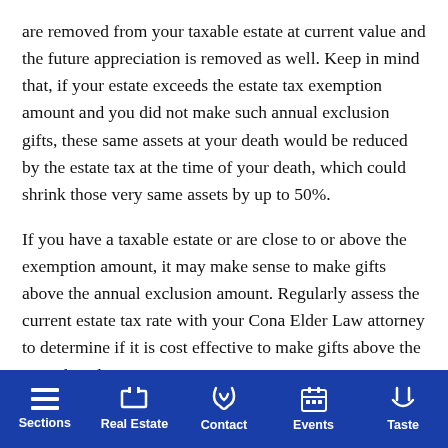are removed from your taxable estate at current value and the future appreciation is removed as well. Keep in mind that, if your estate exceeds the estate tax exemption amount and you did not make such annual exclusion gifts, these same assets at your death would be reduced by the estate tax at the time of your death, which could shrink those very same assets by up to 50%.
If you have a taxable estate or are close to or above the exemption amount, it may make sense to make gifts above the annual exclusion amount. Regularly assess the current estate tax rate with your Cona Elder Law attorney to determine if it is cost effective to make gifts above the annual exclusion amount.
Sections | Real Estate | Contact | Events | Taste